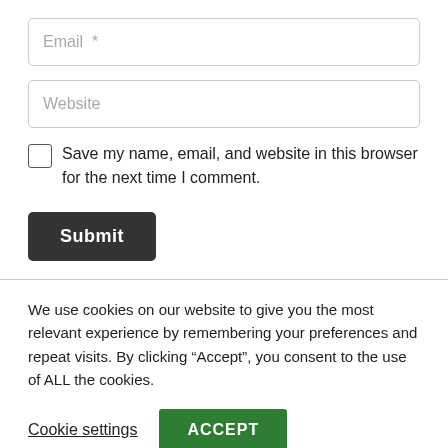Email *
Website
Save my name, email, and website in this browser for the next time I comment.
Submit
We use cookies on our website to give you the most relevant experience by remembering your preferences and repeat visits. By clicking “Accept”, you consent to the use of ALL the cookies.
Cookie settings
ACCEPT